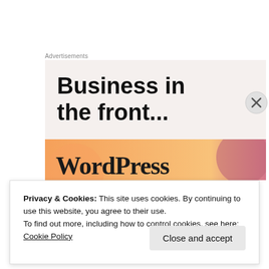Advertisements
[Figure (screenshot): WordPress advertisement banner showing 'Business in the front...' text on a light beige background with an orange gradient bar at the bottom containing partial 'WordPress' logo text]
We need to find a site owner from a community to join the...
Privacy & Cookies: This site uses cookies. By continuing to use this website, you agree to their use.
To find out more, including how to control cookies, see here: Cookie Policy
Close and accept